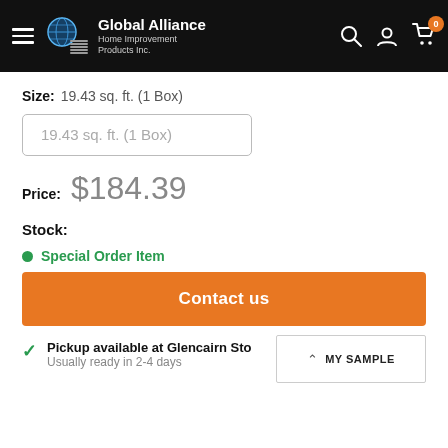Global Alliance Home Improvement Products Inc.
Size: 19.43 sq. ft. (1 Box)
19.43 sq. ft. (1 Box)
Price: $184.39
Stock:
Special Order Item
Contact us
Pickup available at Glencairn Sto...
Usually ready in 2-4 days
MY SAMPLE